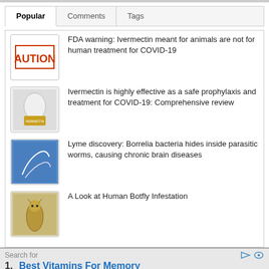Popular | Comments | Tags
[Figure (screenshot): Thumbnail image showing 'AUTION' text in red/orange bold letters on white background with red border]
FDA warning: Ivermectin meant for animals are not for human treatment for COVID-19
[Figure (photo): Thumbnail photo of a small white/yellow pill bottle labeled Ivermectin]
Ivermectin is highly effective as a safe prophylaxis and treatment for COVID-19: Comprehensive review
[Figure (photo): Thumbnail photo of Borrelia bacteria or parasitic worm under blue-tinted microscope view]
Lyme discovery: Borrelia bacteria hides inside parasitic worms, causing chronic brain diseases
[Figure (photo): Thumbnail photo of a botfly larva on light background]
A Look at Human Botfly Infestation
Search for
1. Best Vitamins For Memory
2. 10 Foods You Should Avoid